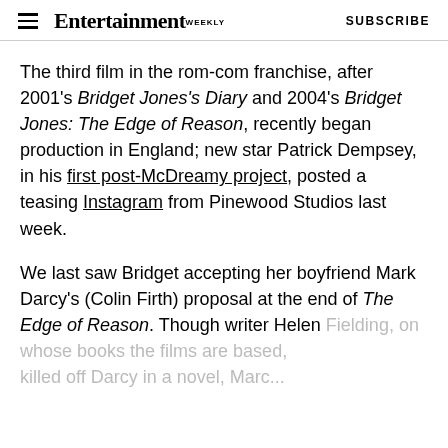Entertainment Weekly | SUBSCRIBE
The third film in the rom-com franchise, after 2001's Bridget Jones's Diary and 2004's Bridget Jones: The Edge of Reason, recently began production in England; new star Patrick Dempsey, in his first post-McDreamy project, posted a teasing Instagram from Pinewood Studios last week.
We last saw Bridget accepting her boyfriend Mark Darcy's (Colin Firth) proposal at the end of The Edge of Reason. Though writer Helen Fielding, on whose books the films are based, killed off Darcy in a novel, Marc...